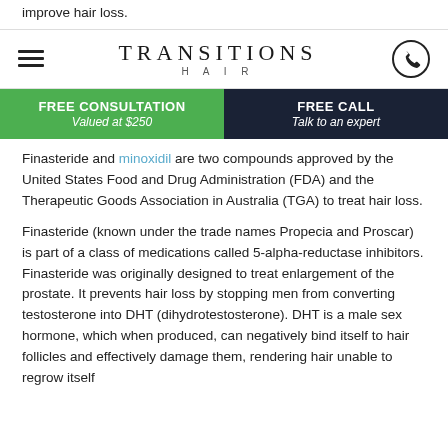improve hair loss.
[Figure (logo): Transitions Hair logo with hamburger menu icon on left and phone icon circle on right]
[Figure (infographic): CTA bar with two sections: FREE CONSULTATION Valued at $250 (green background) and FREE CALL Talk to an expert (dark navy background)]
Finasteride and minoxidil are two compounds approved by the United States Food and Drug Administration (FDA) and the Therapeutic Goods Association in Australia (TGA) to treat hair loss.
Finasteride (known under the trade names Propecia and Proscar) is part of a class of medications called 5-alpha-reductase inhibitors. Finasteride was originally designed to treat enlargement of the prostate. It prevents hair loss by stopping men from converting testosterone into DHT (dihydrotestosterone). DHT is a male sex hormone, which when produced, can negatively bind itself to hair follicles and effectively damage them, rendering hair unable to regrow itself